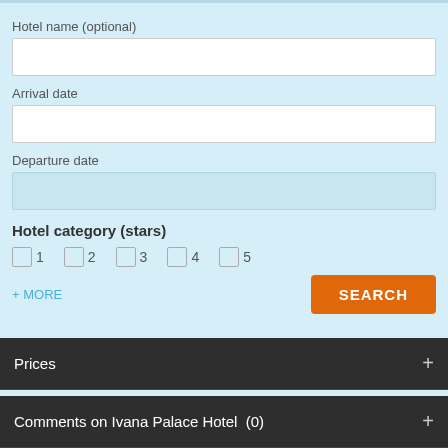Hotel name (optional)
Arrival date
Departure date
Hotel category (stars)
1  2  3  4  5  (checkboxes)
+ MORE
SEARCH
Prices
Comments on Ivana Palace Hotel  (0)